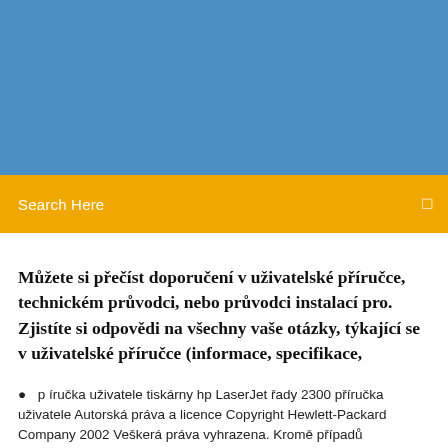[Figure (other): Blue header banner background]
Search Here
Můžete si přečíst doporučení v uživatelské příručce, technickém průvodci, nebo průvodci instalací pro. Zjistíte si odpovědi na všechny vaše otázky, týkající se v uživatelské příručce (informace, specifikace,
p íručka uživatele tiskárny hp LaserJet řady 2300 příručka uživatele Autorská práva a licence Copyright Hewlett-Packard Company 2002 Veškerá práva vyhrazena. Kromě případů